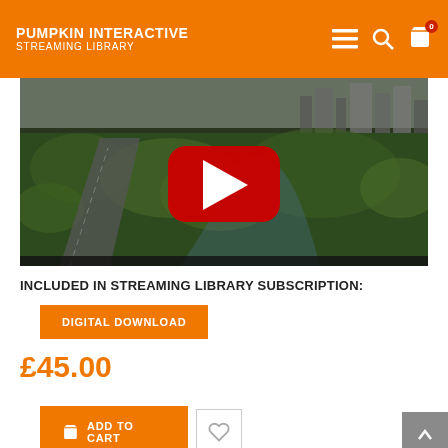PUMPKIN INTERACTIVE STREAMING LIBRARY
[Figure (screenshot): Aerial drone video thumbnail showing a highway surrounded by trees with a city skyline in the background, overlaid with a red YouTube play button]
INCLUDED IN STREAMING LIBRARY SUBSCRIPTION:
DIGITAL DOWNLOAD
£45.00
ADD TO CART